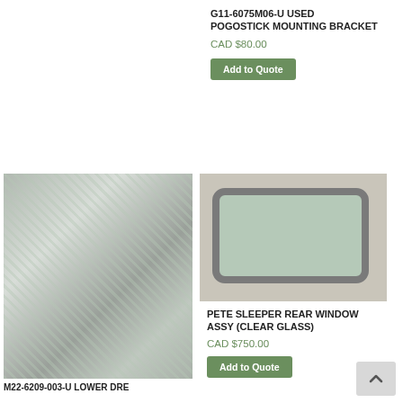G11-6075M06-U USED POGOSTICK MOUNTING BRACKET
CAD $80.00
Add to Quote
[Figure (photo): Diamond plate aluminum bracket or panel, trapezoidal shape, metallic silver with tread pattern]
[Figure (photo): Rectangular window assembly with rounded corners, dark rubber seal frame, green-tinted clear glass, gray background]
PETE SLEEPER REAR WINDOW ASSY (CLEAR GLASS)
CAD $750.00
Add to Quote
M22-6209-003-U LOWER DRE